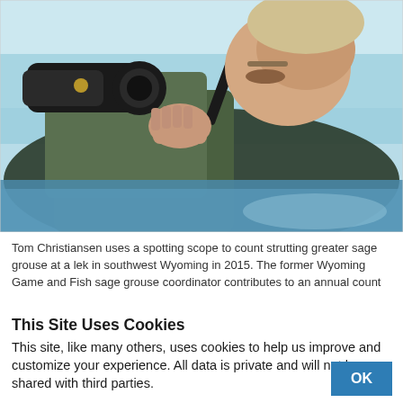[Figure (photo): A man using a large spotting scope or binoculars outdoors, wearing a green jacket. He is pressing the scope to his eye with both hands. The background is light blue sky.]
Tom Christiansen uses a spotting scope to count strutting greater sage grouse at a lek in southwest Wyoming in 2015. The former Wyoming Game and Fish sage grouse coordinator contributes to an annual count
This Site Uses Cookies
This site, like many others, uses cookies to help us improve and customize your experience. All data is private and will not be shared with third parties.